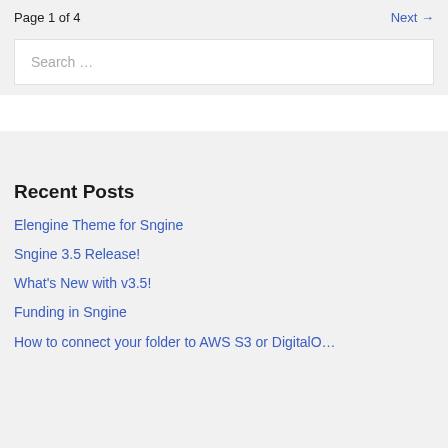Page 1 of 4    Next →
Search …
Recent Posts
Elengine Theme for Sngine
Sngine 3.5 Release!
What's New with v3.5!
Funding in Sngine
How to connect your folder to AWS S3 or DigitalO…